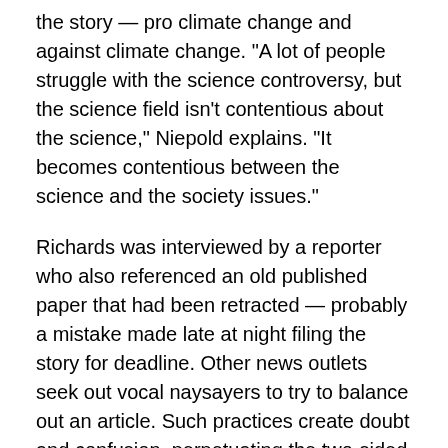the story — pro climate change and against climate change. "A lot of people struggle with the science controversy, but the science field isn't contentious about the science," Niepold explains. "It becomes contentious between the science and the society issues."
Richards was interviewed by a reporter who also referenced an old published paper that had been retracted — probably a mistake made late at night filing the story for deadline. Other news outlets seek out vocal naysayers to try to balance out an article. Such practices create doubt and confusion, perpetuating the two-sided perception. As a result, students will quote radio programs about studies being untrue, and think that they have a point.